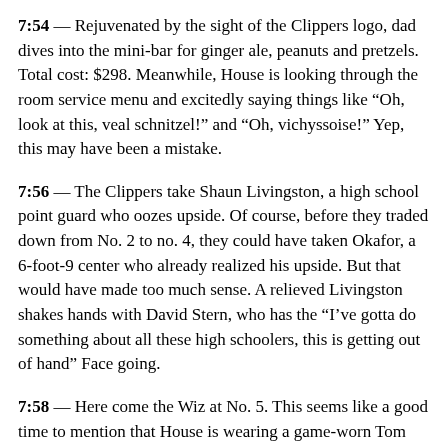7:54 — Rejuvenated by the sight of the Clippers logo, dad dives into the mini-bar for ginger ale, peanuts and pretzels. Total cost: $298. Meanwhile, House is looking through the room service menu and excitedly saying things like “Oh, look at this, veal schnitzel!” and “Oh, vichyssoise!” Yep, this may have been a mistake.
7:56 — The Clippers take Shaun Livingston, a high school point guard who oozes upside. Of course, before they traded down from No. 2 to no. 4, they could have taken Okafor, a 6-foot-9 center who already realized his upside. But that would have made too much sense. A relieved Livingston shakes hands with David Stern, who has the “I’ve gotta do something about all these high schoolers, this is getting out of hand” Face going.
7:58 — Here come the Wiz at No. 5. This seems like a good time to mention that House is wearing a game-worn Tom Gugliotta jersey from the ’93-’94 Bullets season. If that’s not a collector’s item, I don’t know what is. By the way, he’s 34 years old.